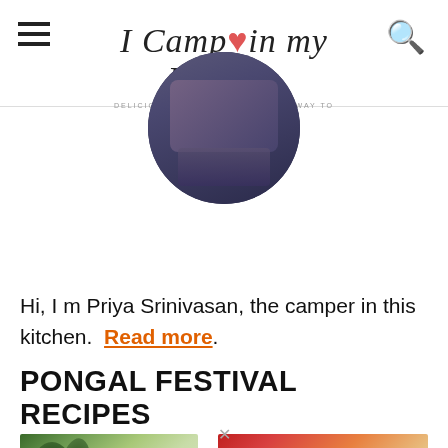I Camp in my Kitchen — DELICIOUS RECIPE FOOD AN EASY WAY TO ANYONE'S HEART
[Figure (photo): Circular profile photo of Priya Srinivasan, partially cropped at top, showing a person in a dark floral outfit]
Hi, I m Priya Srinivasan, the camper in this kitchen.  Read more.
PONGAL FESTIVAL RECIPES
[Figure (photo): Two food photos side by side: left shows green leaves on a light background, right shows a dish with red and cream colored food items]